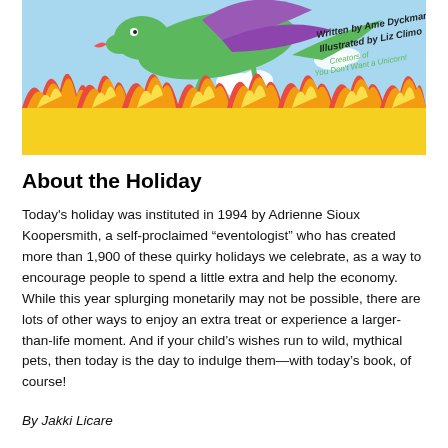[Figure (illustration): Book cover illustration showing a green dragon flying against a blue sky with flames below. Text reads: Written by Ame Dyckman, Illustrated by Liz Climo, Creators of You Don't Want a Unicorn!]
About the Holiday
Today's holiday was instituted in 1994 by Adrienne Sioux Koopersmith, a self-proclaimed “eventologist” who has created more than 1,900 of these quirky holidays we celebrate, as a way to encourage people to spend a little extra and help the economy. While this year splurging monetarily may not be possible, there are lots of other ways to enjoy an extra treat or experience a larger-than-life moment. And if your child’s wishes run to wild, mythical pets, then today is the day to indulge them—with today’s book, of course!
By Jakki Licare